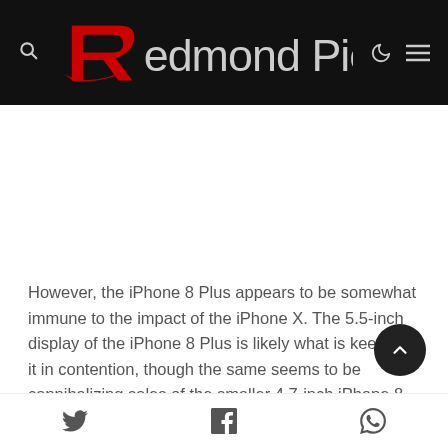Redmond Pie
However, the iPhone 8 Plus appears to be somewhat immune to the impact of the iPhone X. The 5.5-inch display of the iPhone 8 Plus is likely what is keeping it in contention, though the same seems to be cannibalizing sales of the smaller 4.7-inch iPhone 8.
Apple has not been forthcoming about the new iPhones'